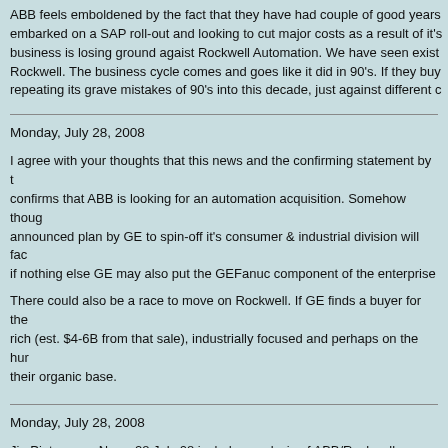ABB feels emboldened by the fact that they have had couple of good years... embarked on a SAP roll-out and looking to cut major costs as a result of it's... business is losing ground agaist Rockwell Automation. We have seen exist... Rockwell. The business cycle comes and goes like it did in 90's. If they buy... repeating its grave mistakes of 90's into this decade, just against different c...
Monday, July 28, 2008
I agree with your thoughts that this news and the confirming statement by t... confirms that ABB is looking for an automation acquisition. Somehow thoug... announced plan by GE to spin-off it's consumer & industrial division will fac... if nothing else GE may also put the GEFanuc component of the enterprise...
There could also be a race to move on Rockwell. If GE finds a buyer for the... rich (est. $4-6B from that sale), industrially focused and perhaps on the hur... their organic base.
Monday, July 28, 2008
JimPinto.com eNews 28 July 08 includes analysis of ABB/Rockwell possibi...
A comparison of ABB and Rockwell stocks shows that conditions are... Rockwell. Rockwell stock is down, and ABB is strong, with plenty of... chooses.
Two weeks ago, ABB named Joseph Hogan, the head of GE Health... GE, Joseph Hogan spearheaded a number of large acquisitions incl... acquisition. Now expect him to bring out ABB's big guns. Rockwell w...